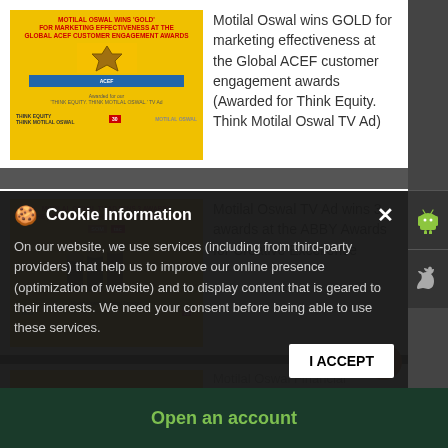[Figure (screenshot): Motilal Oswal GOLD award image for marketing effectiveness at Global ACEF Customer Engagement Awards - yellow background award poster with trophy and people]
Motilal Oswal wins GOLD for marketing effectiveness at the Global ACEF customer engagement awards (Awarded for Think Equity. Think Motilal Oswal TV Ad)
[Figure (screenshot): Motilal Oswal TV Ad wins 3 awards at the ABBY Awards for Creative Excellence - yellow background award poster with trophies]
Motilal Oswal TV Ad wins 3 awards at the ABBY Awards for Creative Excellence
Cookie Information
On our website, we use services (including from third-party providers) that help us to improve our online presence (optimization of website) and to display content that is geared to their interests. We need your consent before being able to use these services.
Motilal Oswal Financial Services Ltd wins the Brand of the Yea...
Open an account